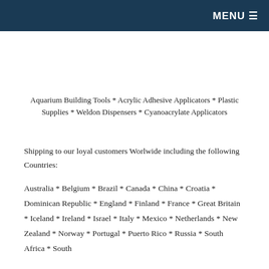MENU ≡
Aquarium Building Tools * Acrylic Adhesive Applicators * Plastic Supplies * Weldon Dispensers * Cyanoacrylate Applicators
Shipping to our loyal customers Worlwide including the following Countries:
Australia * Belgium * Brazil * Canada * China * Croatia * Dominican Republic * England * Finland * France * Great Britain * Iceland * Ireland * Israel * Italy * Mexico * Netherlands * New Zealand * Norway * Portugal * Puerto Rico * Russia * South Africa * South